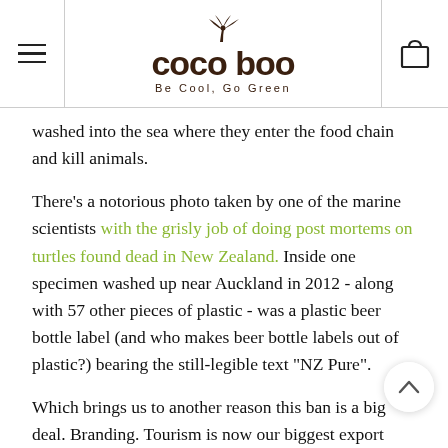coco boo – Be Cool, Go Green
washed into the sea where they enter the food chain and kill animals.
There's a notorious photo taken by one of the marine scientists with the grisly job of doing post mortems on turtles found dead in New Zealand. Inside one specimen washed up near Auckland in 2012 - along with 57 other pieces of plastic - was a plastic beer bottle label (and who makes beer bottle labels out of plastic?) bearing the still-legible text "NZ Pure".
Which brings us to another reason this ban is a big deal. Branding. Tourism is now our biggest export earner, ye track record on the environment is poor. Basically if we our "100% Pure" logo to mean more than a piece of branded